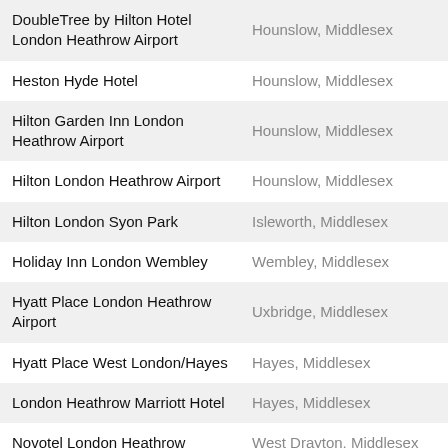| Hotel | Location |
| --- | --- |
| DoubleTree by Hilton Hotel London Heathrow Airport | Hounslow, Middlesex |
| Heston Hyde Hotel | Hounslow, Middlesex |
| Hilton Garden Inn London Heathrow Airport | Hounslow, Middlesex |
| Hilton London Heathrow Airport | Hounslow, Middlesex |
| Hilton London Syon Park | Isleworth, Middlesex |
| Holiday Inn London Wembley | Wembley, Middlesex |
| Hyatt Place London Heathrow Airport | Uxbridge, Middlesex |
| Hyatt Place West London/Hayes | Hayes, Middlesex |
| London Heathrow Marriott Hotel | Hayes, Middlesex |
| Novotel London Heathrow | West Drayton, Middlesex |
| Novotel London Wembley | Wembley, Middlesex |
| Park Grand London Heathrow | Hounslow, Middlesex |